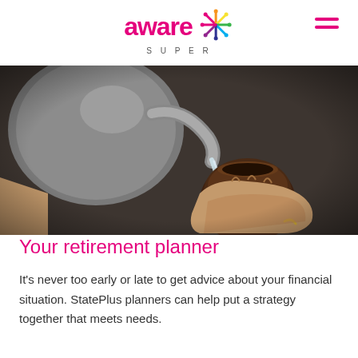aware SUPER
[Figure (photo): Close-up photo of elderly hands pouring water from a silver kettle into a gourd cup, with a wedding ring visible on one hand.]
Your retirement planner
It's never too early or late to get advice about your financial situation. StatePlus planners can help put a strategy together that meets needs.